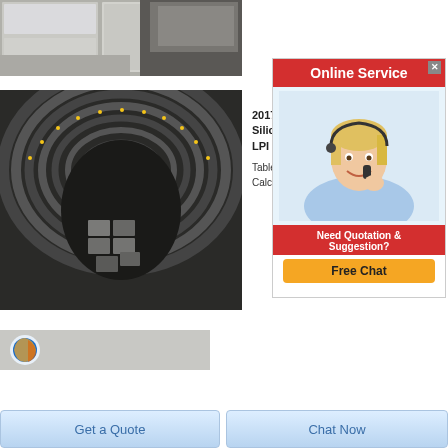[Figure (photo): Photo of stacked grey stone/ceramic tiles on a pallet]
[Figure (photo): Industrial tunnel/kiln interior with concentric rings and stacked refractory bricks visible at center]
2017 Silica LPI Table Calci
[Figure (infographic): Online Service advertisement banner with red header, customer service agent photo, 'Need Quotation & Suggestion?' text, and Free Chat button]
[Figure (photo): Partial screenshot with Firefox browser logo visible]
Get a Quote
Chat Now